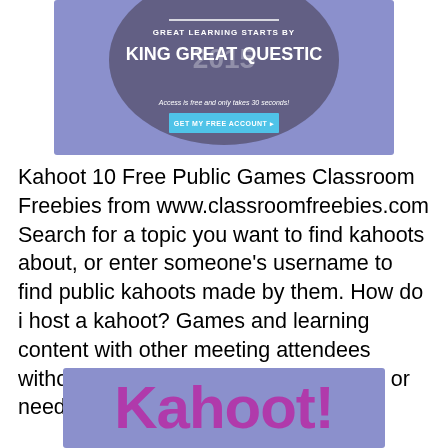[Figure (illustration): Purple/lavender banner with circular photo overlay showing students, text reading 'GREAT LEARNING STARTS BY KING GREAT QUESTIC' (truncated), '2015', 'Access is free and only takes 30 seconds!', and a 'GET MY FREE ACCOUNT >' button]
Kahoot 10 Free Public Games Classroom Freebies from www.classroomfreebies.com Search for a topic you want to find kahoots about, or enter someone's username to find public kahoots made by them. How do i host a kahoot? Games and learning content with other meeting attendees without ever leaving the zoom meeting or needing a second device.
[Figure (logo): Kahoot! logo text in bold purple/magenta on a lavender/purple background banner]